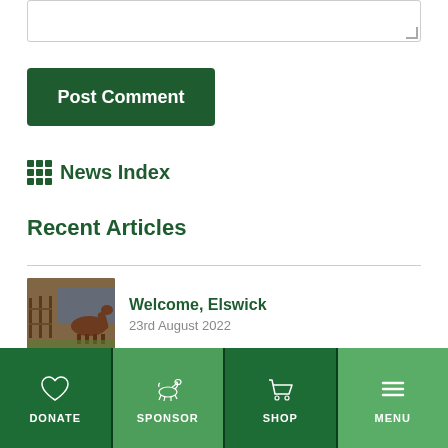[textarea / comment input box]
Post Comment
⊞ News Index
Recent Articles
Welcome, Elswick
23rd August 2022
Goodnight Auriol
DONATE | SPONSOR | SHOP | MENU